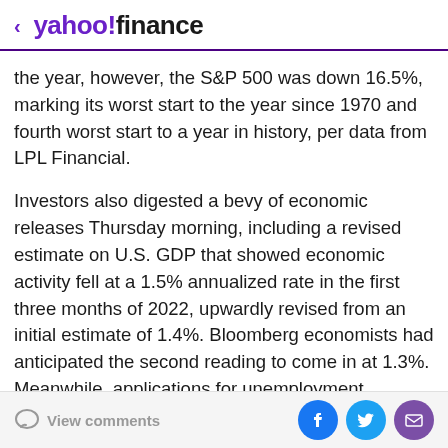yahoo!finance
the year, however, the S&P 500 was down 16.5%, marking its worst start to the year since 1970 and fourth worst start to a year in history, per data from LPL Financial.
Investors also digested a bevy of economic releases Thursday morning, including a revised estimate on U.S. GDP that showed economic activity fell at a 1.5% annualized rate in the first three months of 2022, upwardly revised from an initial estimate of 1.4%. Bloomberg economists had anticipated the second reading to come in at 1.3%. Meanwhile, applications for unemployment insurance ticked back down in the latest
View comments